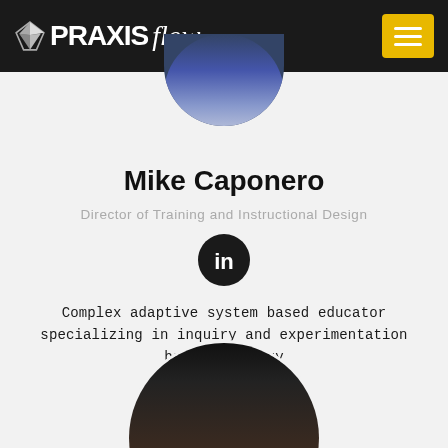PRАXISflow
[Figure (photo): Circular cropped headshot photo of Mike Caponero, partial top portion visible]
Mike Caponero
Director of Training and Instructional Design
[Figure (logo): LinkedIn icon - white 'in' text on dark circle]
Complex adaptive system based educator specializing in inquiry and experimentation based pedagogy
[Figure (photo): Circular cropped headshot photo of another person, top portion visible showing forehead and hair]